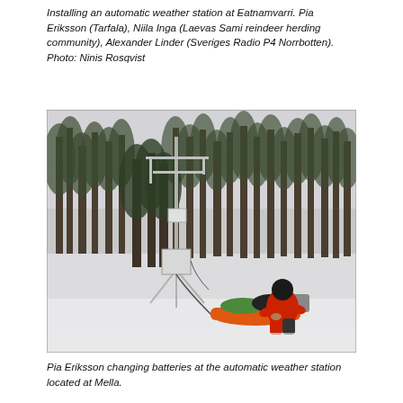Installing an automatic weather station at Eatnamvarri. Pia Eriksson (Tarfala), Niila Inga (Laevas Sami reindeer herding community), Alexander Linder (Sveriges Radio P4 Norrbotten). Photo: Ninis Rosqvist
[Figure (photo): A person in a red jacket kneels on snow next to an automatic weather station mounted on a tripod. Pine trees form the background in a snowy forest landscape. An orange sled with equipment is visible near the person.]
Pia Eriksson changing batteries at the automatic weather station located at Mella.